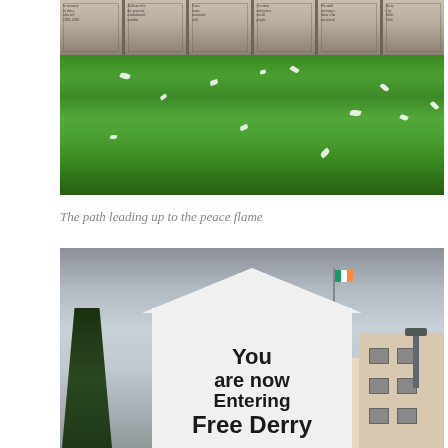[Figure (photo): A memorial wall with engraved panels showing text and illustrations, bordered by a black base, with green grass in the foreground and scattered white flower petals on the grass. The path leading up to the peace flame.]
The path leading up to the peace flame
[Figure (photo): A white painted gable end wall of a building with large bold text reading 'YOU ARE NOW ENTERING FREE DERRY'. The scene shows an urban street with trees on the left, residential buildings on the right, an Irish tricolour flag, and an overcast sky.]